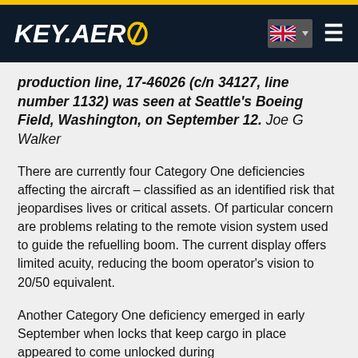KEY.AERO navigation bar with logo and UK flag
production line, 17-46026 (c/n 34127, line number 1132) was seen at Seattle's Boeing Field, Washington, on September 12. Joe G Walker
There are currently four Category One deficiencies affecting the aircraft – classified as an identified risk that jeopardises lives or critical assets. Of particular concern are problems relating to the remote vision system used to guide the refuelling boom. The current display offers limited acuity, reducing the boom operator's vision to 20/50 equivalent.
Another Category One deficiency emerged in early September when locks that keep cargo in place appeared to come unlocked during